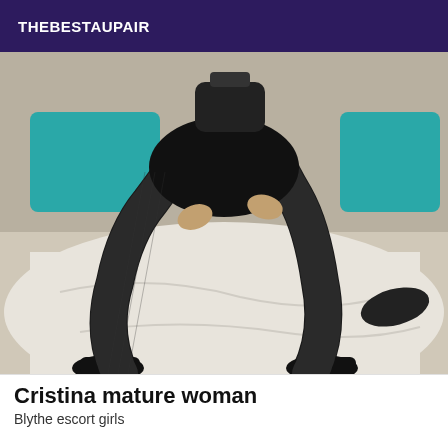THEBESTAUPAIR
[Figure (photo): A woman in black fishnet stockings and black high heels sitting on a white bed with teal pillows, wearing black lingerie. Only the legs and lower torso are visible.]
Cristina mature woman
Blythe escort girls